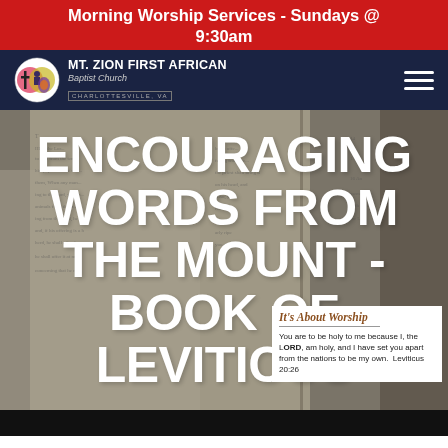Morning Worship Services - Sundays @ 9:30am
[Figure (logo): Mt. Zion First African Baptist Church logo with navigation bar]
[Figure (photo): Close-up photo of Bible pages (Leviticus) with large white text overlay reading ENCOURAGING WORDS FROM THE MOUNT - BOOK OF LEVITICUS, and a white quote box reading 'It's About Worship' with Leviticus 20:26 verse]
You are to be holy to me because I, the LORD, am holy, and I have set you apart from the nations to be my own. Leviticus 20:26